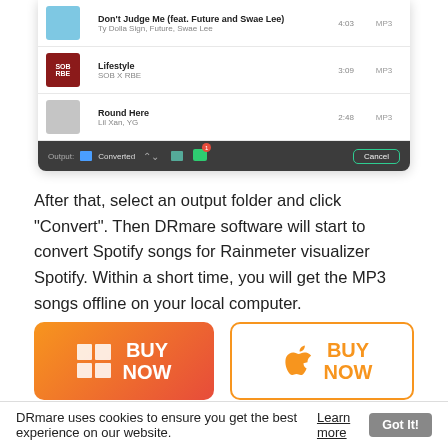[Figure (screenshot): DRmare software UI showing a list of songs (Don't Judge Me feat. Future and Swae Lee by Ty Dolla Sign, Future, Swae Lee - 4:03 MP3; Lifestyle by SOB X RBE - 3:09 MP3; Round Here by Lil Xan, YG - 2:48 MP3) with an output bar showing 'Converted' folder and Cancel button.]
After that, select an output folder and click "Convert". Then DRmare software will start to convert Spotify songs for Rainmeter visualizer Spotify. Within a short time, you will get the MP3 songs offline on your local computer.
[Figure (infographic): Two BUY NOW buttons — left: gradient orange-red with Windows icon for Windows version; right: white with orange border, Apple icon for Mac version.]
DRmare uses cookies to ensure you get the best experience on our website. Learn more  Got It!